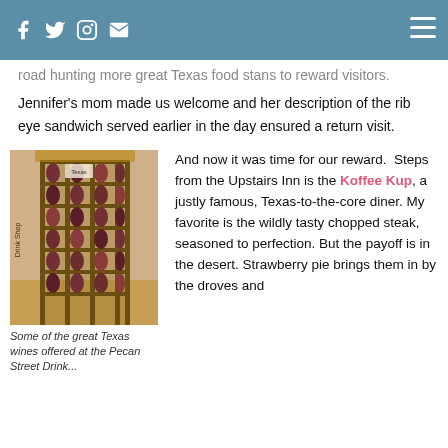Facebook Twitter Instagram Mail [Menu]
road hunting more great Texas food stans to reward visitors.
Jennifer's mom made us welcome and her description of the rib eye sandwich served earlier in the day ensured a return visit.
[Figure (photo): Wine rack display showing bottles of Texas wines in a wooden rack at what appears to be a store or tasting room.]
Some of the great Texas wines offered at the Pecan Street Drink...
And now it was time for our reward.  Steps from the Upstairs Inn is the Koffee Kup, a justly famous, Texas-to-the-core diner. My favorite is the wildly tasty chopped steak, seasoned to perfection. But the payoff is in the desert. Strawberry pie brings them in by the droves and